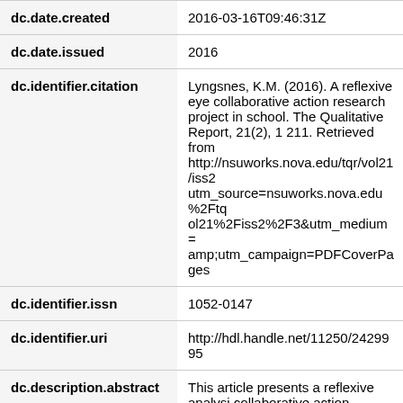| Field | Value |
| --- | --- |
| dc.date.created | 2016-03-16T09:46:31Z |
| dc.date.issued | 2016 |
| dc.identifier.citation | Lyngsnes, K.M. (2016). A reflexive eye collaborative action research project in school. The Qualitative Report, 21(2), 1 211. Retrieved from http://nsuworks.nova.edu/tqr/vol21/iss2 utm_source=nsuworks.nova.edu%2Ftq ol21%2Fiss2%2F3&amp;utm_medium= amp;utm_campaign=PDFCoverPages |
| dc.identifier.issn | 1052-0147 |
| dc.identifier.uri | http://hdl.handle.net/11250/2429995 |
| dc.description.abstract | This article presents a reflexive analysi collaborative action research project ba on the “Nordic tradition” of action resea this project I, in the role of researcher, with a team of four teachers in a Norwe primary/lower secondary school to dev teaching practice focused on students' |